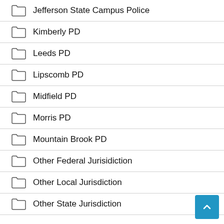Jefferson State Campus Police
Kimberly PD
Leeds PD
Lipscomb PD
Midfield PD
Morris PD
Mountain Brook PD
Other Federal Jurisidiction
Other Local Jurisdiction
Other State Jurisdiction